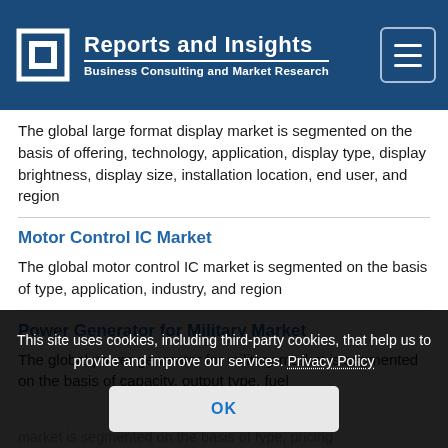Reports and Insights — Business Consulting and Market Research
The global large format display market is segmented on the basis of offering, technology, application, display type, display brightness, display size, installation location, end user, and region
Motor Control IC Market
The global motor control IC market is segmented on the basis of type, application, industry, and region
Power Generator for Military Market
The global power generator for military market is segmented on the basis of capacity, output type, fuel
market is segmented on the basis of type, pricing
This site uses cookies, including third-party cookies, that help us to provide and improve our services. Privacy Policy
OK